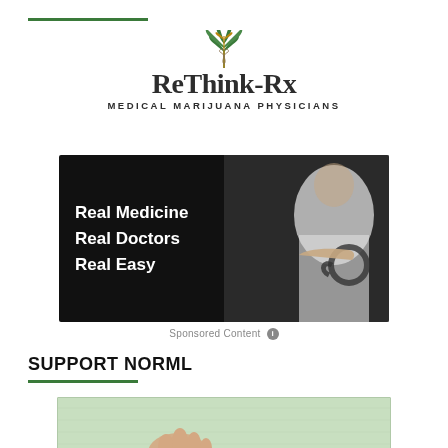[Figure (logo): ReThink-Rx Medical Marijuana Physicians logo with cannabis leaf and caduceus symbol]
[Figure (photo): Advertisement image with dark background showing text 'Real Medicine Real Doctors Real Easy' on left and a doctor in white coat holding stethoscope on right]
Sponsored Content ℹ
SUPPORT NORML
[Figure (photo): Partial image showing a hand on a light green/wooden surface, bottom of page]